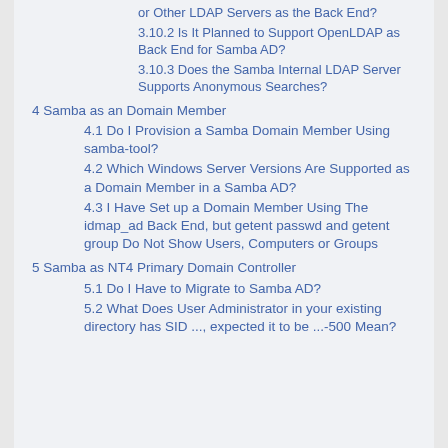or Other LDAP Servers as the Back End?
3.10.2 Is It Planned to Support OpenLDAP as Back End for Samba AD?
3.10.3 Does the Samba Internal LDAP Server Supports Anonymous Searches?
4 Samba as an Domain Member
4.1 Do I Provision a Samba Domain Member Using samba-tool?
4.2 Which Windows Server Versions Are Supported as a Domain Member in a Samba AD?
4.3 I Have Set up a Domain Member Using The idmap_ad Back End, but getent passwd and getent group Do Not Show Users, Computers or Groups
5 Samba as NT4 Primary Domain Controller
5.1 Do I Have to Migrate to Samba AD?
5.2 What Does User Administrator in your existing directory has SID ..., expected it to be ...-500 Mean?